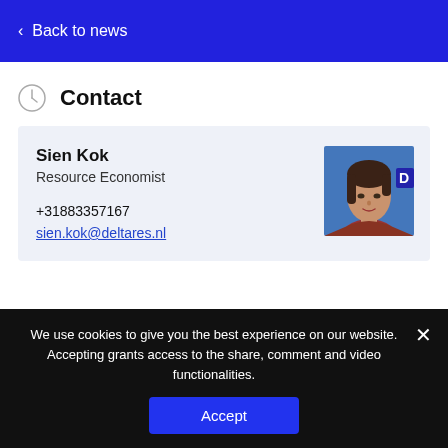< Back to news
Contact
Sien Kok
Resource Economist
+31883357167
sien.kok@deltares.nl
[Figure (photo): Headshot of Sien Kok, woman with dark hair wearing a red top, blue background]
We use cookies to give you the best experience on our website. Accepting grants access to the share, comment and video functionalities.
Accept